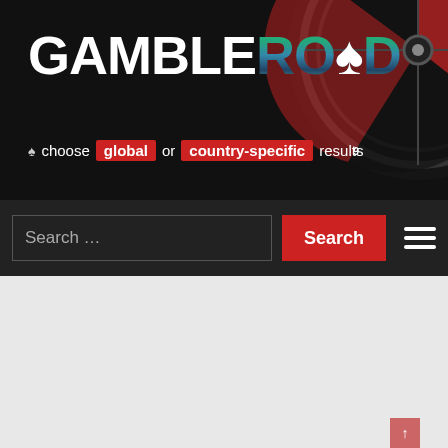[Figure (screenshot): GambleRoad website header with dark background, roulette wheel, logo, tagline with red badges for 'global' and 'country-specific', search bar with red Search button and hamburger menu]
[Figure (screenshot): Diamond 7 Casino advertisement screenshot with navigation bar (HOME, SIGN UP, PROMOTIONS, SUPPORT, SIGN UP button), casino promo banner with diamond logo, 'A GENEROUS WELCOME PACKAGE JOIN DIAMOND 7 AND PLAY WITH UP TO €500 EXTRA IN BONUS & AN ADDITIONAL 50 BONUS SPINS OVER YOUR FIRST 3 DEPOSITS.' text and orange SIGN UP NOW button]